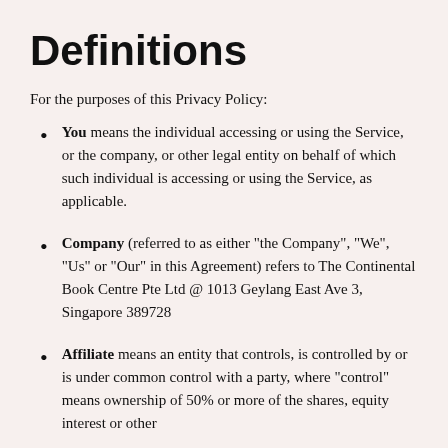Definitions
For the purposes of this Privacy Policy:
You means the individual accessing or using the Service, or the company, or other legal entity on behalf of which such individual is accessing or using the Service, as applicable.
Company (referred to as either "the Company", "We", "Us" or "Our" in this Agreement) refers to The Continental Book Centre Pte Ltd @ 1013 Geylang East Ave 3, Singapore 389728
Affiliate means an entity that controls, is controlled by or is under common control with a party, where "control" means ownership of 50% or more of the shares, equity interest or other